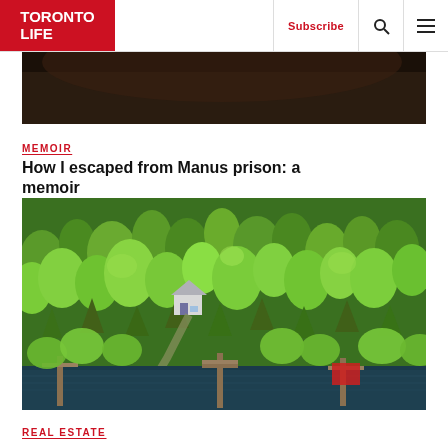TORONTO LIFE | Subscribe | [search] [menu]
[Figure (photo): Partial dark image at top, cropped — appears to be a person's face or dark background, cut off by navigation bar]
MEMOIR
How I escaped from Manus prison: a memoir
[Figure (photo): Aerial drone photograph of a dense green forest with tall coniferous trees, a small white house/cottage visible among the trees, and a dark lake or river along the bottom edge with docks extending into the water]
REAL ESTATE